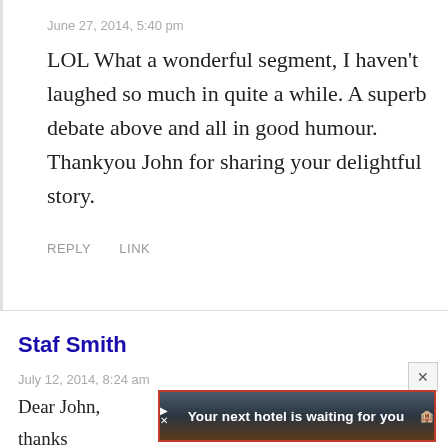June 27, 2014, 5:40 pm
LOL What a wonderful segment, I haven't laughed so much in quite a while. A superb debate above and all in good humour. Thankyou John for sharing your delightful story.
REPLY   LINK
Staf Smith
July 12, 2014, 8:24 am
Dear John,
thanks
[Figure (other): Advertisement banner: 'Your next hotel is waiting for you' with hotel image background, red border, close button top-right]